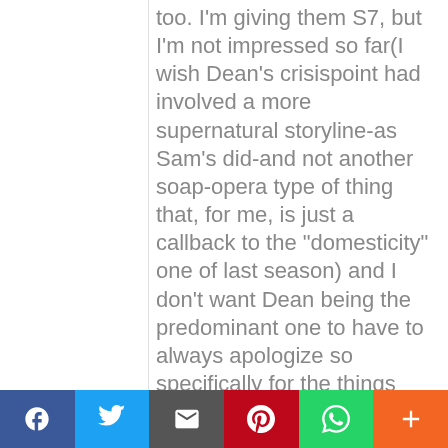too. I'm giving them S7, but I'm not impressed so far(I wish Dean's crisispoint had involved a more supernatural storyline-as Sam's did-and not another soap-opera type of thing that, for me, is just a callback to the "domesticity" one of last season) and I don't want Dean being the predominant one to have to always apologize so specifically for the things that he's done wrong in the brother relationship-S7 does just seem like a wash, rinse, and repeat of many things-some I can live with(the brothers having each other's backs in the hunt, of course), but others ARE going to drive me away if the writers choose to make what I see as the same mistakes that they made in the last 2 seasons. NY favorite season was S4-the set-up of a better re-forging of the bond and the flow of the myth-arc.
[Figure (infographic): Social sharing bar with six buttons: Facebook (blue, f icon), Twitter (light blue, bird icon), Email (dark gray, envelope icon), Pinterest (red, P icon), WhatsApp (green, phone icon), More (orange, + icon)]